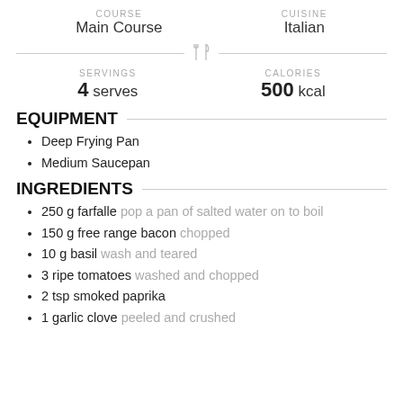COURSE: Main Course | CUISINE: Italian
SERVINGS: 4 serves | CALORIES: 500 kcal
EQUIPMENT
Deep Frying Pan
Medium Saucepan
INGREDIENTS
250 g farfalle pop a pan of salted water on to boil
150 g free range bacon chopped
10 g basil wash and teared
3 ripe tomatoes washed and chopped
2 tsp smoked paprika
1 garlic clove peeled and crushed